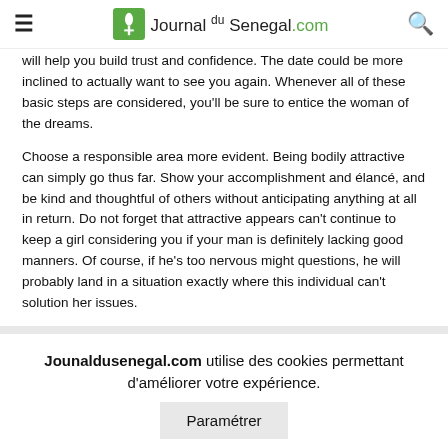Journal du Senegal.com
will help you build trust and confidence. The date could be more inclined to actually want to see you again. Whenever all of these basic steps are considered, you'll be sure to entice the woman of the dreams.
Choose a responsible area more evident. Being bodily attractive can simply go thus far. Show your accomplishment and élancé, and be kind and thoughtful of others without anticipating anything at all in return. Do not forget that attractive appears can't continue to keep a girl considering you if your man is definitely lacking good manners. Of course, if he's too nervous might questions, he will probably land in a situation exactly where this individual can't solution her issues.
Jounaldusenegal.com utilise des cookies permettant d'améliorer votre expérience.
Paramétrer
ACCEPTER